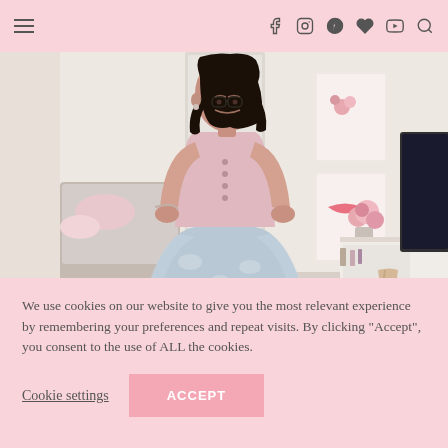Navigation header with hamburger menu and social icons (Facebook, Instagram, Pinterest, heart/Bloglovin, YouTube, Search)
[Figure (photo): A woman wearing a pink long-sleeve top and a light blue floral tulle skirt, standing in a bedroom with a vanity mirror, makeup items, pink flowers, and framed art prints on the wall in a pink and white aesthetic room.]
We use cookies on our website to give you the most relevant experience by remembering your preferences and repeat visits. By clicking “Accept”, you consent to the use of ALL the cookies.
Cookie settings
ACCEPT